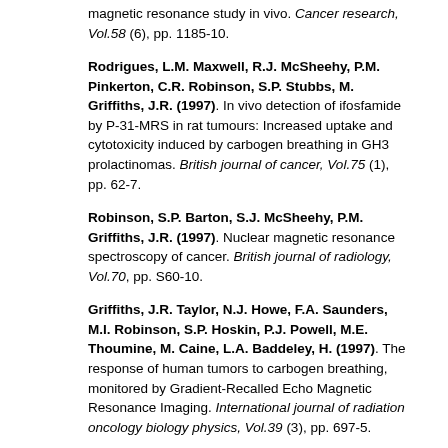magnetic resonance study in vivo. Cancer research, Vol.58 (6), pp. 1185-10.
Rodrigues, L.M. Maxwell, R.J. McSheehy, P.M. Pinkerton, C.R. Robinson, S.P. Stubbs, M. Griffiths, J.R. (1997). In vivo detection of ifosfamide by P-31-MRS in rat tumours: Increased uptake and cytotoxicity induced by carbogen breathing in GH3 prolactinomas. British journal of cancer, Vol.75 (1), pp. 62-7.
Robinson, S.P. Barton, S.J. McSheehy, P.M. Griffiths, J.R. (1997). Nuclear magnetic resonance spectroscopy of cancer. British journal of radiology, Vol.70, pp. S60-10.
Griffiths, J.R. Taylor, N.J. Howe, F.A. Saunders, M.I. Robinson, S.P. Hoskin, P.J. Powell, M.E. Thoumine, M. Caine, L.A. Baddeley, H. (1997). The response of human tumors to carbogen breathing, monitored by Gradient-Recalled Echo Magnetic Resonance Imaging. International journal of radiation oncology biology physics, Vol.39 (3), pp. 697-5.
Robinson, S.P. Rodrigues, L.M. Ojugo, A.S. McSheehy, P.M. Howe, F.A. Griffiths, J.R. (1997). The response to carbogen breathing in experimental tumour models.